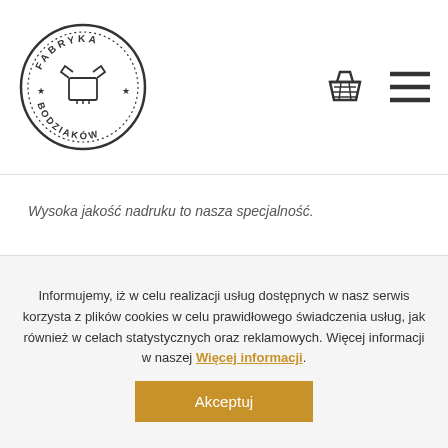Fabryka Bodziaków - logo and navigation icons
Wysoka jakość nadruku to nasza specjalność.
PRODUKTY POWIĄZANE
Informujemy, iż w celu realizacji usług dostępnych w nasz serwis korzysta z plików cookies w celu prawidłowego świadczenia usług, jak również w celach statystycznych oraz reklamowych. Więcej informacji w naszej Więcej informacji.
Akceptuj